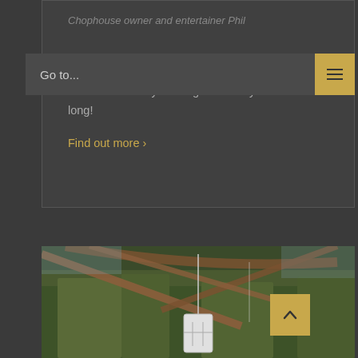Chophouse owner and entertainer Phil
Go to...
Chophouse several times each week. Join Phil most Wednesdays through Saturdays all season long!
Find out more ›
[Figure (photo): Outdoor photo showing wooden beam roof structure with hanging gondola/lift equipment, trees visible in background]